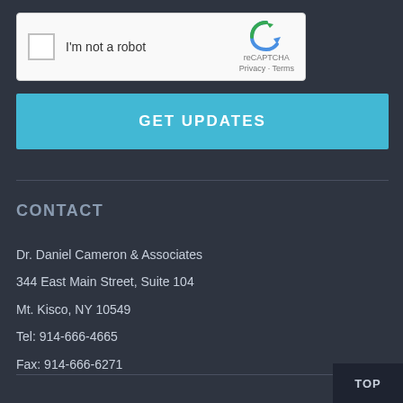[Figure (screenshot): reCAPTCHA widget with checkbox labeled 'I'm not a robot' and reCAPTCHA logo with Privacy and Terms links]
GET UPDATES
CONTACT
Dr. Daniel Cameron & Associates
344 East Main Street, Suite 104
Mt. Kisco, NY 10549
Tel: 914-666-4665
Fax: 914-666-6271
TOP